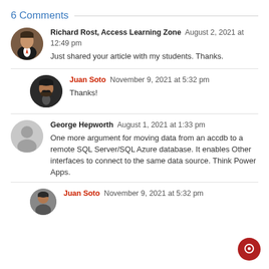6 Comments
Richard Rost, Access Learning Zone  August 2, 2021 at 12:49 pm
Just shared your article with my students. Thanks.
Juan Soto  November 9, 2021 at 5:32 pm
Thanks!
George Hepworth  August 1, 2021 at 1:33 pm
One more argument for moving data from an accdb to a remote SQL Server/SQL Azure database. It enables Other interfaces to connect to the same data source. Think Power Apps.
Juan Soto  November 9, 2021 at 5:32 pm